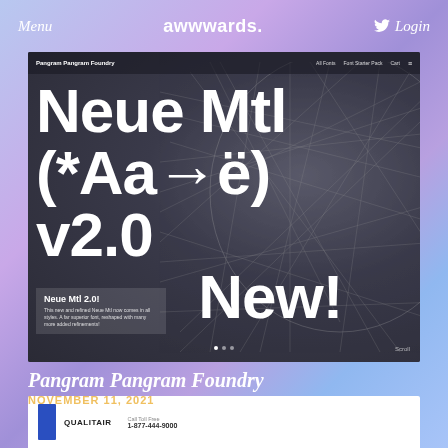Menu   awwwards.   Login
[Figure (screenshot): Screenshot of Pangram Pangram Foundry website showing 'Neue Mtl (*Aa→ë) v2.0 New!' in large white text over a geometric mesh dome background]
Pangram Pangram Foundry
NOVEMBER 11, 2021
[Figure (screenshot): Partial screenshot of a white document/card with blue sidebar element and QUALITAIR logo with Call Toll Free 1-877-444-9000]